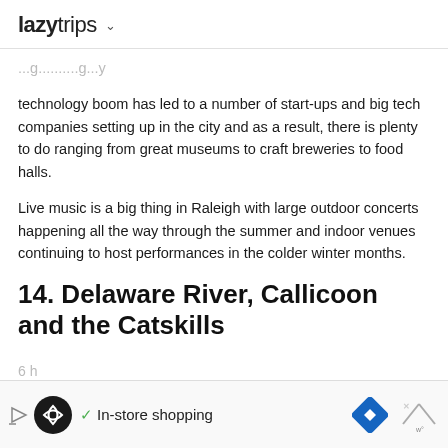lazytrips ∨
technology boom has led to a number of start-ups and big tech companies setting up in the city and as a result, there is plenty to do ranging from great museums to craft breweries to food halls.
Live music is a big thing in Raleigh with large outdoor concerts happening all the way through the summer and indoor venues continuing to host performances in the colder winter months.
14. Delaware River, Callicoon and the Catskills
[Figure (screenshot): Advertisement banner with in-store shopping icons and navigation symbol, with close button]